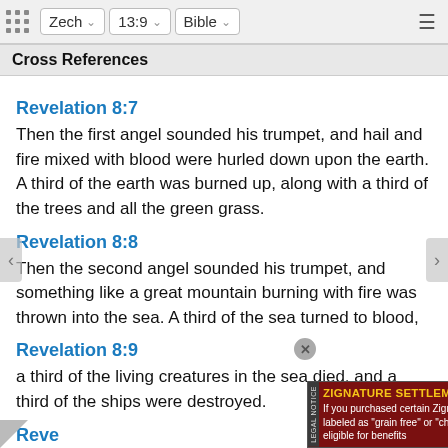Zech  13:9  Bible
Cross References
Revelation 8:7
Then the first angel sounded his trumpet, and hail and fire mixed with blood were hurled down upon the earth. A third of the earth was burned up, along with a third of the trees and all the green grass.
Revelation 8:8
Then the second angel sounded his trumpet, and something like a great mountain burning with fire was thrown into the sea. A third of the sea turned to blood,
Revelation 8:9
a third of the living creatures in the sea died, and a third of the ships were destroyed.
Reve...
Then...
[Figure (other): Advertisement overlay for Zignature Settlement pet food class action.]